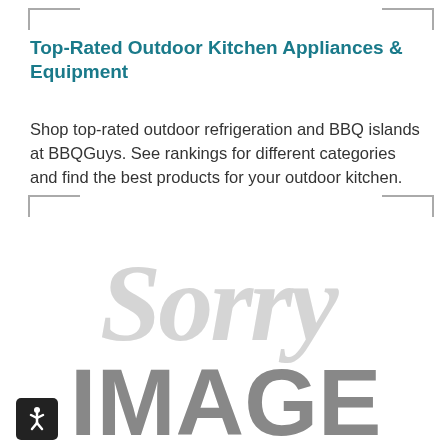Top-Rated Outdoor Kitchen Appliances & Equipment
Shop top-rated outdoor refrigeration and BBQ islands at BBQGuys. See rankings for different categories and find the best products for your outdoor kitchen.
[Figure (photo): Sorry Image placeholder — image failed to load, showing 'Sorry IMAGE' watermark text in gray]